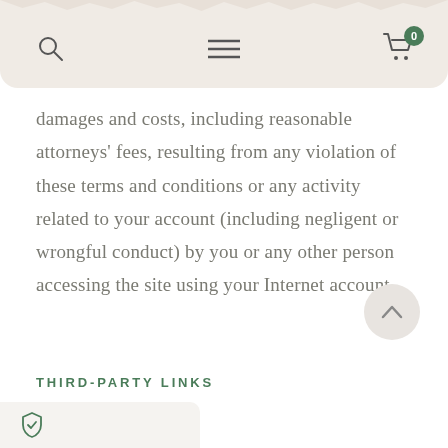[Figure (screenshot): Website navigation header bar with search icon, hamburger menu icon, and shopping cart icon with badge showing 0]
damages and costs, including reasonable attorneys' fees, resulting from any violation of these terms and conditions or any activity related to your account (including negligent or wrongful conduct) by you or any other person accessing the site using your Internet account.
[Figure (other): Scroll to top button with upward chevron arrow]
THIRD-PARTY LINKS
[Figure (other): Shield icon in a light gray pill/card element at bottom left]